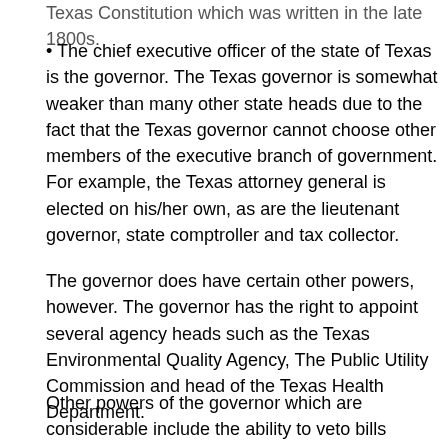Texas Constitution which was written in the late 1800s.
The chief executive officer of the state of Texas is the governor. The Texas governor is somewhat weaker than many other state heads due to the fact that the Texas governor cannot choose other members of the executive branch of government. For example, the Texas attorney general is elected on his/her own, as are the lieutenant governor, state comptroller and tax collector.
The governor does have certain other powers, however. The governor has the right to appoint several agency heads such as the Texas Environmental Quality Agency, The Public Utility Commission and head of the Texas Health Department.
Other powers of the governor which are considerable include the ability to veto bills passed by the Legislature, the ability to call the Legislature into